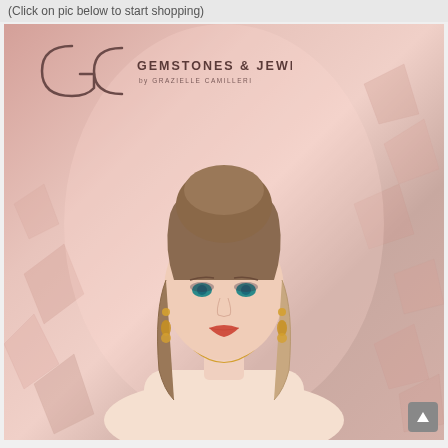(Click on pic below to start shopping)
[Figure (photo): Advertisement photo for Gemstones & Jewellery by Grazielle Camilleri. Rose gold/pink background with crystal/geometric shapes. Logo with stylized GC monogram at top left. Woman with brown upswept hair, teal eyes, wearing gold earrings and necklace, posing against the pink background.]